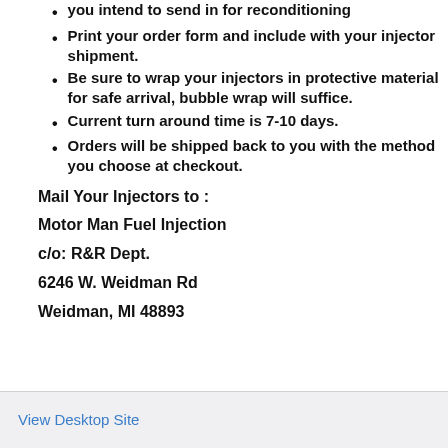you intend to send in for reconditioning
Print your order form and include with your injector shipment.
Be sure to wrap your injectors in protective material for safe arrival, bubble wrap will suffice.
Current turn around time is 7-10 days.
Orders will be shipped back to you with the method you choose at checkout.
Mail Your Injectors to :
Motor Man Fuel Injection
c/o: R&R Dept.
6246 W. Weidman Rd
Weidman, MI 48893
View Desktop Site